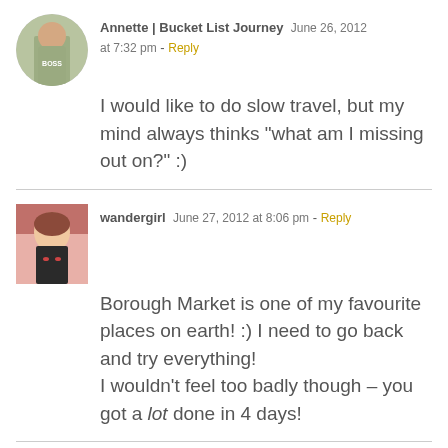[Figure (photo): Circular avatar photo of Annette, a woman in outdoor setting]
Annette | Bucket List Journey  June 26, 2012 at 7:32 pm - Reply
I would like to do slow travel, but my mind always thinks "what am I missing out on?" :)
[Figure (photo): Rectangular avatar photo of wandergirl, close-up portrait]
wandergirl  June 27, 2012 at 8:06 pm - Reply
Borough Market is one of my favourite places on earth! :) I need to go back and try everything! I wouldn't feel too badly though – you got a lot done in 4 days!
[Figure (photo): Circular avatar photo of Annette]
Annette | Bucket List Journey  June 27, 2012 at 9:30 pm - Reply